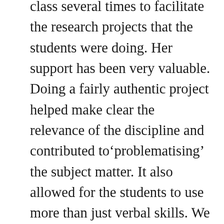class several times to facilitate the research projects that the students were doing. Her support has been very valuable. Doing a fairly authentic project helped make clear the relevance of the discipline and contributed to‘problematising’ the subject matter. It also allowed for the students to use more than just verbal skills. We also had to take into account that the students in the class varied greatly in their ability to read and write English; apart from age differences, about half the students were non-native English speakers and some had learning difficulties or had had practically no formal schooling. Thus there had to be a differentiation of tasks as well as of outcomes. Doing authentic 48